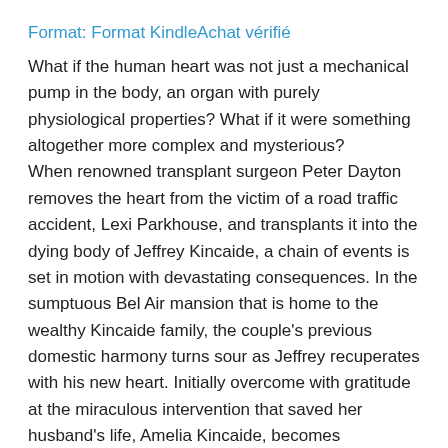Format: Format KindleAchat vérifié
What if the human heart was not just a mechanical pump in the body, an organ with purely physiological properties? What if it were something altogether more complex and mysterious?
When renowned transplant surgeon Peter Dayton removes the heart from the victim of a road traffic accident, Lexi Parkhouse, and transplants it into the dying body of Jeffrey Kincaide, a chain of events is set in motion with devastating consequences. In the sumptuous Bel Air mansion that is home to the wealthy Kincaide family, the couple's previous domestic harmony turns sour as Jeffrey recuperates with his new heart. Initially overcome with gratitude at the miraculous intervention that saved her husband's life, Amelia Kincaide, becomes increasingly disturbed by what she perceives as abnormal changes in